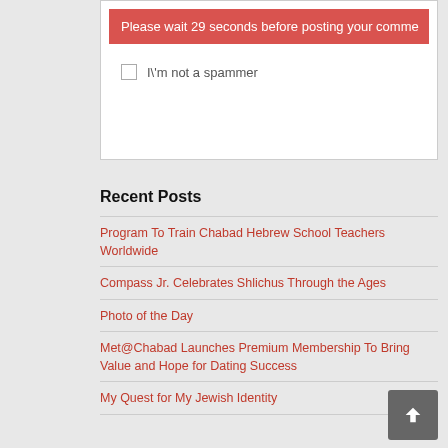Please wait 29 seconds before posting your comment
I'm not a spammer
Recent Posts
Program To Train Chabad Hebrew School Teachers Worldwide
Compass Jr. Celebrates Shlichus Through the Ages
Photo of the Day
Met@Chabad Launches Premium Membership To Bring Value and Hope for Dating Success
My Quest for My Jewish Identity